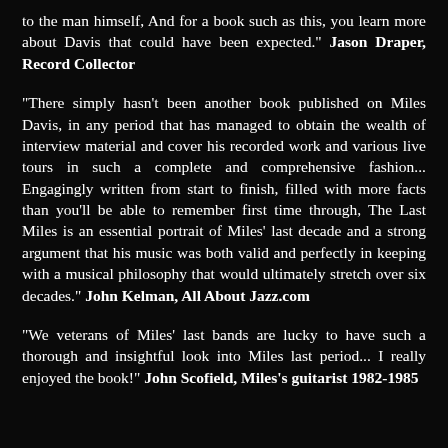to the man himself, And for a book such as this, you learn more about Davis that could have been expected." Jason Draper, Record Collector
"There simply hasn't been another book published on Miles Davis, in any period that has managed to obtain the wealth of interview material and cover his recorded work and various live tours in such a complete and comprehensive fashion... Engagingly written from start to finish, filled with more facts than you'll be able to remember first time through, The Last Miles is an essential portrait of Miles' last decade and a strong argument that his music was both valid and perfectly in keeping with a musical philosophy that would ultimately stretch over six decades." John Kelman, All About Jazz.com
"We veterans of Miles' last bands are lucky to have such a thorough and insightful look into Miles last period... I really enjoyed the book!" John Scofield, Miles's guitarist 1982-1985